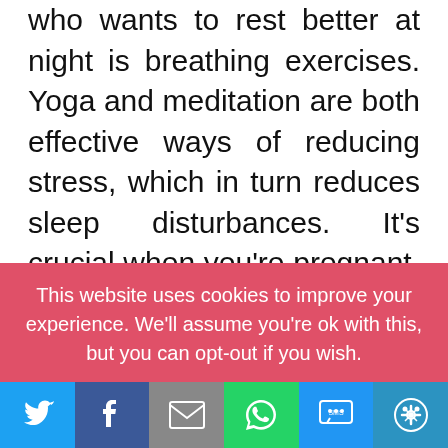who wants to rest better at night is breathing exercises. Yoga and meditation are both effective ways of reducing stress, which in turn reduces sleep disturbances. It's crucial when you're pregnant, or any time, to take care of yourself and reduce your anxiety levels so that you can get the most out of every day and night. Why not try this simple technique: breathe deeply with long, slow breaths through your nose while counting slowly up to five on each inhale and exhale? You'll be amazed how quickly it
This website uses cookies to improve your experience. We'll assume you're ok with this, but you can opt-out if you wish.
[Figure (infographic): Social share bar with Twitter, Facebook, Email, WhatsApp, SMS, and More buttons]